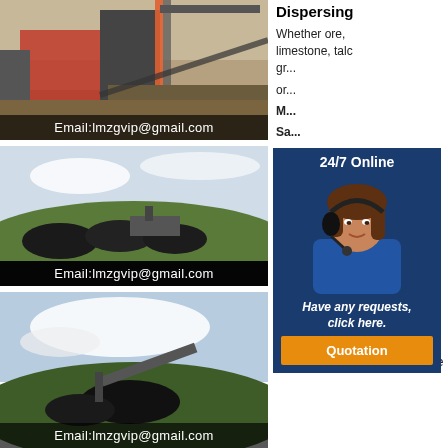[Figure (photo): Mining/quarry machinery equipment photo with email overlay]
Email:lmzgvip@gmail.com
[Figure (photo): Coal mining site with stockpiles and machinery, email overlay]
Email:lmzgvip@gmail.com
[Figure (photo): Mining conveyor and equipment at open pit site, email overlay]
Email:lmzgvip@gmail.com
Dispersing
Whether ore, limestone, talc gr... or...
[Figure (infographic): 24/7 Online chat widget with customer service agent photo, Have any requests click here, Quotation button]
Mining Vale
2 天副标 · Back to homepage. Mining, Our main business. An essential activity for modern life